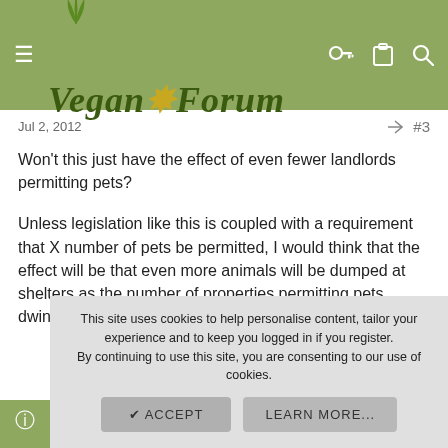Vegan Forum
Jul 2, 2012  #3
Won't this just have the effect of even fewer landlords permitting pets?

Unless legislation like this is coupled with a requirement that X number of pets be permitted, I would think that the effect will be that even more animals will be dumped at shelters as the number of properties permitting pets dwindles.
↩ Reply
Digger
This site uses cookies to help personalise content, tailor your experience and to keep you logged in if you register. By continuing to use this site, you are consenting to our use of cookies.
ACCEPT   LEARN MORE...